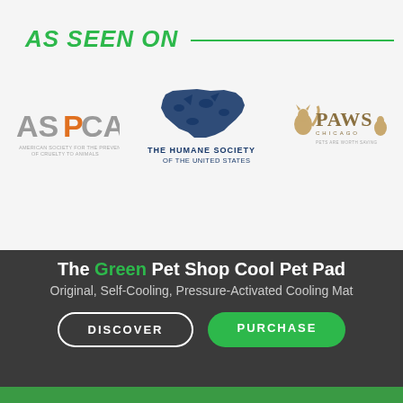AS SEEN ON
[Figure (logo): ASPCA logo - grey and orange lettering]
[Figure (logo): The Humane Society of the United States logo - navy blue USA map made of animal silhouettes with text below]
[Figure (logo): PAWS Chicago logo - Pets Are Worth Saving, with animal illustration]
The Green Pet Shop Cool Pet Pad
Original, Self-Cooling, Pressure-Activated Cooling Mat
DISCOVER
PURCHASE